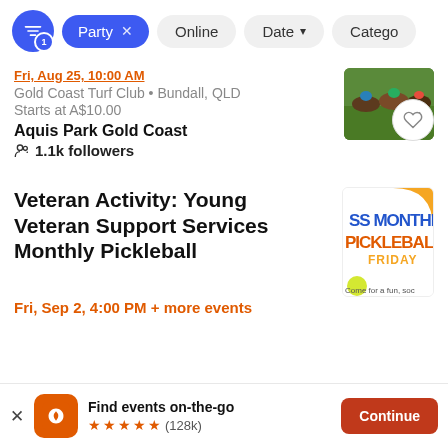Filter bar: Party x | Online | Date | Category
Fri, Aug 25, 10:00 AM
Gold Coast Turf Club • Bundall, QLD
Starts at A$10.00
Aquis Park Gold Coast
1.1k followers
Veteran Activity: Young Veteran Support Services Monthly Pickleball
Fri, Sep 2, 4:00 PM + more events
Find events on-the-go
(128k)